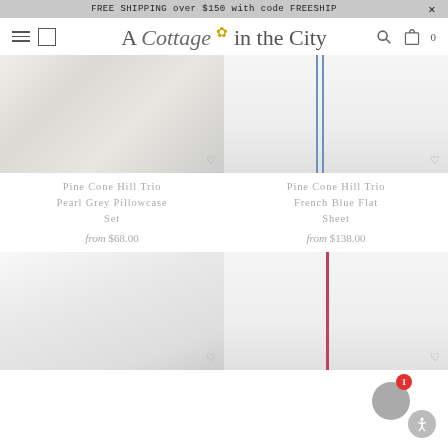FREE SHIPPING over $150 with code FREESHIP
[Figure (logo): A Cottage in the City logo with script font and flower accent, hamburger menu, search and cart icons]
[Figure (photo): Pine Cone Hill Trio Pearl Grey Pillowcase Set product photo showing white/grey pillows]
Pine Cone Hill Trio Pearl Grey Pillowcase Set
from $68.00
[Figure (photo): Pine Cone Hill Trio French Blue Flat Sheet product photo showing white sheet with blue stripe detail]
Pine Cone Hill Trio French Blue Flat Sheet
from $138.00
[Figure (photo): Blue striped pillow set on bed with white bedding and flowers in background]
[Figure (photo): White sheet with red/pink stripe detail]